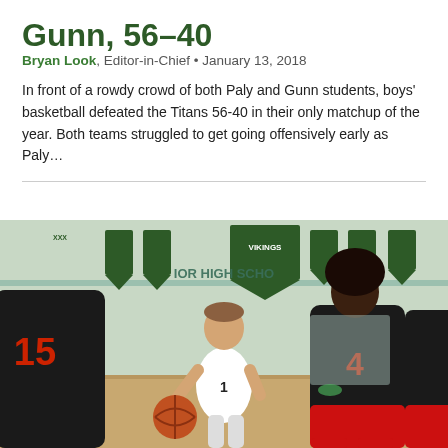Gunn, 56–40
Bryan Look, Editor-in-Chief • January 13, 2018
In front of a rowdy crowd of both Paly and Gunn students, boys' basketball defeated the Titans 56-40 in their only matchup of the year. Both teams struggled to get going offensively early as Paly…
[Figure (photo): Boys basketball player in white Vikings uniform dribbling past a defender in a school gymnasium with championship banners on the walls.]